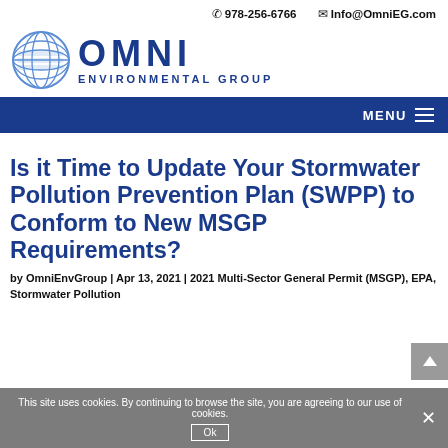📞 978-256-6766   ✉ Info@OmniEG.com
[Figure (logo): Omni Environmental Group logo with globe icon and blue OMNI lettering with ENVIRONMENTAL GROUP below]
MENU
Is it Time to Update Your Stormwater Pollution Prevention Plan (SWPP) to Conform to New MSGP Requirements?
by OmniEnvGroup | Apr 13, 2021 | 2021 Multi-Sector General Permit (MSGP), EPA, Stormwater Pollution
This site uses cookies. By continuing to browse the site, you are agreeing to our use of cookies.